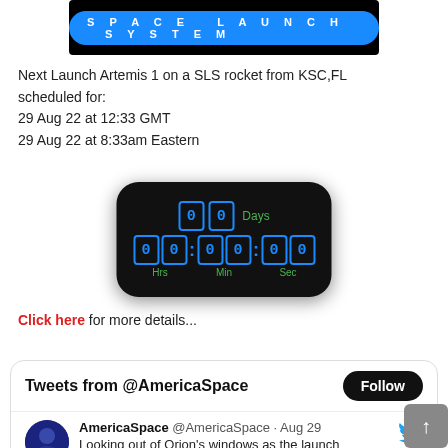[Figure (screenshot): Black banner with 'SPACE LAUNCH SYSTEM' text in cyan/blue pill-shaped label]
Next Launch Artemis 1 on a SLS rocket from KSC,FL scheduled for:
29 Aug 22 at 12:33 GMT
29 Aug 22 at 8:33am Eastern
[Figure (screenshot): Digital countdown clock with black background showing 00 Days, 00:00:00 Hrs Min Sec in blue LED digits with green labels]
Click here for more details...
[Figure (screenshot): Twitter widget showing 'Tweets from @AmericaSpace' with Follow button and tweet from AmericaSpace @AmericaSpace Aug 29: Looking out of Orion's windows as the launch]